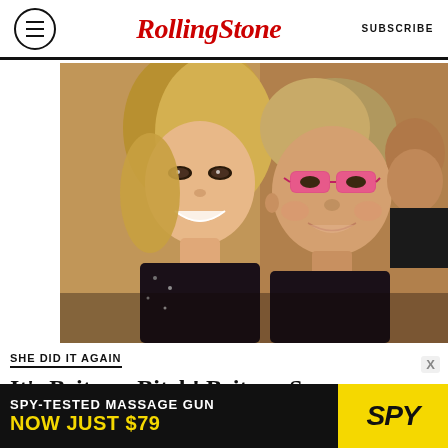Rolling Stone | SUBSCRIBE
[Figure (photo): Photo of two people smiling together: a woman with long blonde hair in a black sparkly outfit on the left, and a man wearing pink-tinted glasses and a black jacket on the right, with a third person visible in the background.]
SHE DID IT AGAIN
It’s Britney, Bitch! Britney Spears Returns with Elton John Collab, ‘Hold Me Closer’
[Figure (other): Advertisement banner: SPY-TESTED MASSAGE GUN NOW JUST $79, with SPY logo in yellow on dark background.]